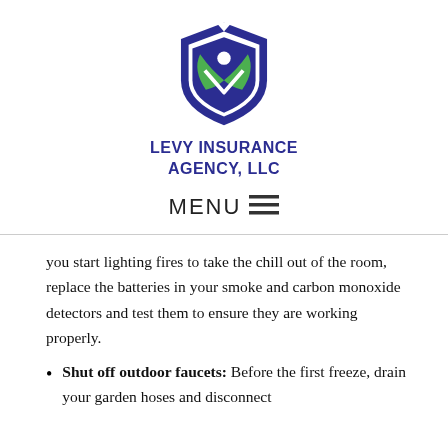[Figure (logo): Levy Insurance Agency LLC shield logo with green leaves and blue shield design]
LEVY INSURANCE AGENCY, LLC
MENU ≡
you start lighting fires to take the chill out of the room, replace the batteries in your smoke and carbon monoxide detectors and test them to ensure they are working properly.
Shut off outdoor faucets: Before the first freeze, drain your garden hoses and disconnect